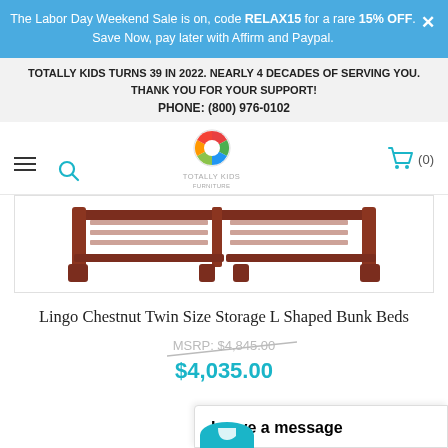The Labor Day Weekend Sale is on, code RELAX15 for a rare 15% OFF. Save Now, pay later with Affirm and Paypal.
TOTALLY KIDS TURNS 39 IN 2022. NEARLY 4 DECADES OF SERVING YOU. THANK YOU FOR YOUR SUPPORT! PHONE: (800) 976-0102
[Figure (logo): Totally Kids Furniture logo — colorful circular icon with text]
[Figure (photo): Lingo Chestnut Twin Size Storage L Shaped Bunk Beds product photo — dark chestnut wood bed frame visible from above]
Lingo Chestnut Twin Size Storage L Shaped Bunk Beds
MSRP: $4,845.00
$4,035.00
Leave a message